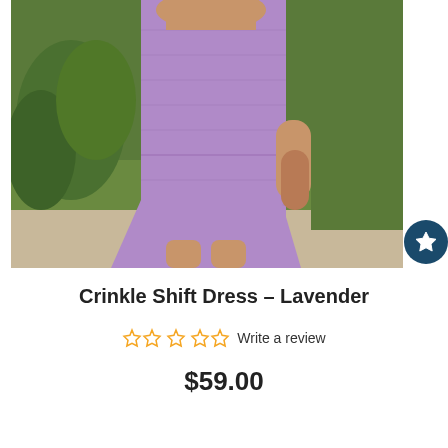[Figure (photo): Woman wearing a lavender crinkle shift dress, shown from behind/side, standing outdoors with green grass and plants in background.]
Crinkle Shift Dress – Lavender
☆ ☆ ☆ ☆ ☆ Write a review
$59.00